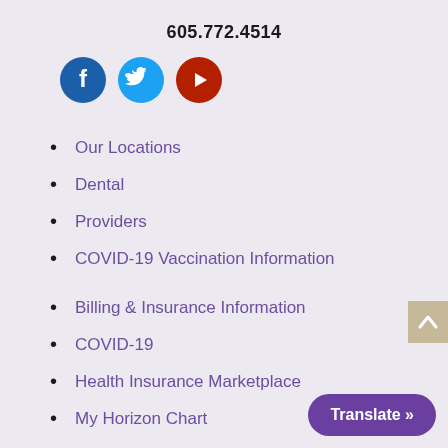605.772.4514
[Figure (illustration): Three social media icons: Facebook (dark blue circle with 'f'), Twitter (light blue circle with bird), YouTube (dark red circle with play button)]
Our Locations
Dental
Providers
COVID-19 Vaccination Information
Billing & Insurance Information
COVID-19
Health Insurance Marketplace
My Horizon Chart
Sliding Fee
TeleHome